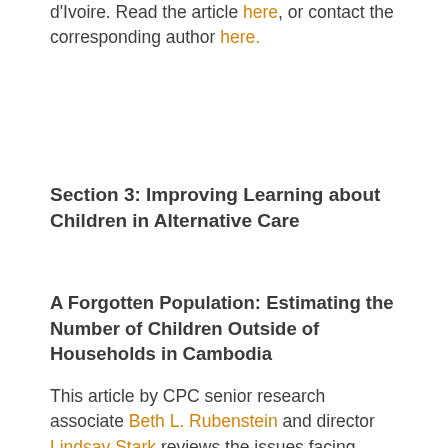d'Ivoire. Read the article here, or contact the corresponding author here.
Section 3: Improving Learning about Children in Alternative Care
A Forgotten Population: Estimating the Number of Children Outside of Households in Cambodia
This article by CPC senior research associate Beth L. Rubenstein and director Lindsay Stark reviews the issues facing children outside of